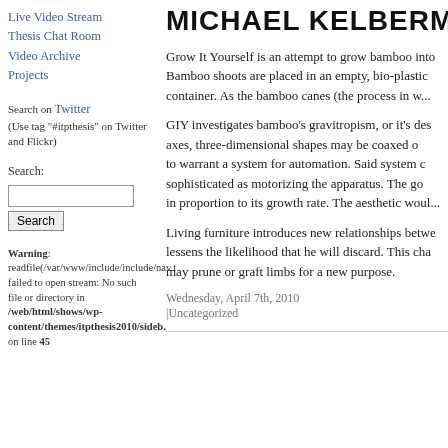Live Video Stream
Thesis Chat Room
Video Archive
Projects
Search on Twitter (Use tag "#itpthesis" on Twitter and Flickr)
Search:
MICHAEL KELBERMAN
Grow It Yourself is an attempt to grow bamboo into... Bamboo shoots are placed in an empty, bio-plastic container. As the bamboo canes (the process in w...
GIY investigates bamboo's gravitropism, or it's des... axes, three-dimensional shapes may be coaxed o... to warrant a system for automation. Said system c... sophisticated as motorizing the apparatus. The go... in proportion to its growth rate. The aesthetic woul...
Living furniture introduces new relationships betwe... lessens the likelihood that he will discard. This cha... may prune or graft limbs for a new purpose.
Warning: readfile(/var/www/include/include/nav.t failed to open stream: No such file or directory in /web/html/shows/wp-content/themes/itpthesis2010/sideb. on line 45
Wednesday, April 7th, 2010
|Uncategorized